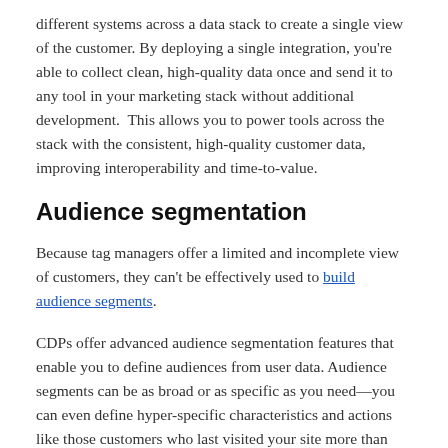different systems across a data stack to create a single view of the customer. By deploying a single integration, you're able to collect clean, high-quality data once and send it to any tool in your marketing stack without additional development.  This allows you to power tools across the stack with the consistent, high-quality customer data, improving interoperability and time-to-value.
Audience segmentation
Because tag managers offer a limited and incomplete view of customers, they can't be effectively used to build audience segments.
CDPs offer advanced audience segmentation features that enable you to define audiences from user data. Audience segments can be as broad or as specific as you need—you can even define hyper-specific characteristics and actions like those customers who last visited your site more than